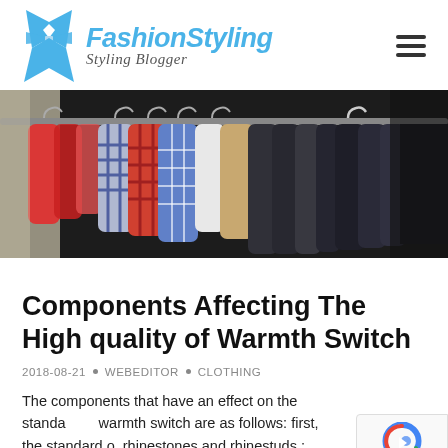FashionStyling – Styling Blogger
[Figure (photo): A rack of colorful clothes hanging on a rail, including plaid shirts, red garments, and dark coats.]
Components Affecting The High quality of Warmth Switch
2018-08-21 • WEBEDITOR • CLOTHING
The components that have an effect on the standard of warmth switch are as follows: first, the standard of rhinestones and rhinestuds ; second, the standard of